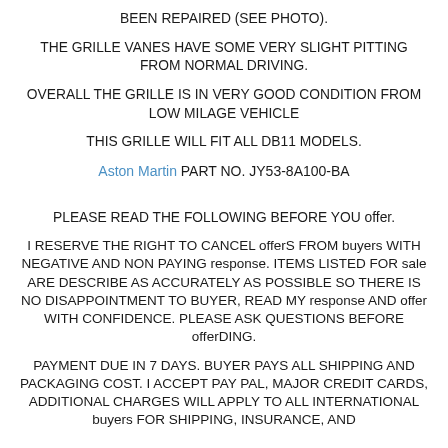BEEN REPAIRED (SEE PHOTO).
THE GRILLE VANES HAVE SOME VERY SLIGHT PITTING FROM NORMAL DRIVING.
OVERALL THE GRILLE IS IN VERY GOOD CONDITION FROM LOW MILAGE VEHICLE
THIS GRILLE WILL FIT ALL DB11 MODELS.
Aston Martin PART NO. JY53-8A100-BA
PLEASE READ THE FOLLOWING BEFORE YOU offer.
I RESERVE THE RIGHT TO CANCEL offerS FROM buyers WITH NEGATIVE AND NON PAYING response. ITEMS LISTED FOR sale ARE DESCRIBE AS ACCURATELY AS POSSIBLE SO THERE IS NO DISAPPOINTMENT TO BUYER, READ MY response AND offer WITH CONFIDENCE. PLEASE ASK QUESTIONS BEFORE offerDING.
PAYMENT DUE IN 7 DAYS. BUYER PAYS ALL SHIPPING AND PACKAGING COST. I ACCEPT PAY PAL, MAJOR CREDIT CARDS, ADDITIONAL CHARGES WILL APPLY TO ALL INTERNATIONAL buyers FOR SHIPPING, INSURANCE, AND